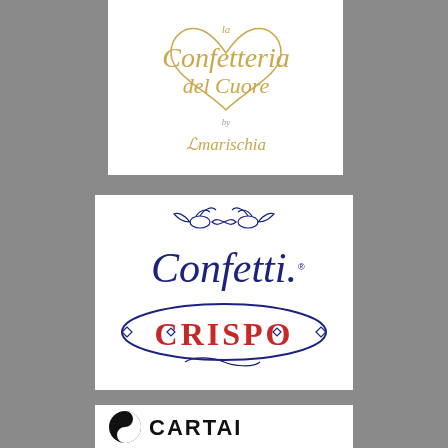[Figure (logo): La Confetteria del Cuore by Amarischia logo — gold/tan cursive script on white background]
[Figure (logo): Confetti Crispo logo — blue cursive 'Confetti' script with two doves, red bold 'CRISPO' lettering inside blue oval, on white background]
[Figure (logo): Cartai logo — black yin-yang style icon with 'CARTAI' bold black text on white background]